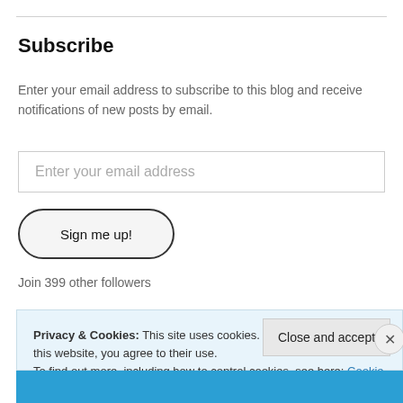Subscribe
Enter your email address to subscribe to this blog and receive notifications of new posts by email.
[Figure (screenshot): Email input text field with placeholder text 'Enter your email address']
[Figure (screenshot): Button with rounded border labeled 'Sign me up!']
Join 399 other followers
Privacy & Cookies: This site uses cookies. By continuing to use this website, you agree to their use. To find out more, including how to control cookies, see here: Cookie Policy
[Figure (screenshot): Close and accept button in cookie banner]
[Figure (screenshot): Blue bottom bar with image thumbnails]